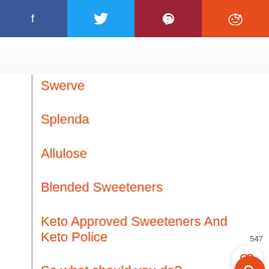[Figure (screenshot): Social media share bar with Facebook, Twitter, Pinterest, and Reddit buttons]
Swerve
Splenda
Allulose
Blended Sweeteners
Keto Approved Sweeteners And Keto Police
So what should you do?